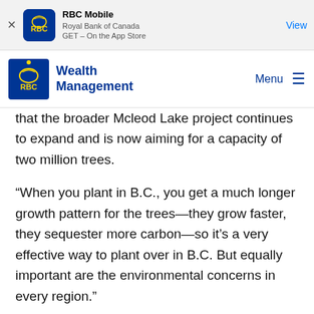RBC Mobile | Royal Bank of Canada | GET – On the App Store | View
Wealth Management | Menu
that the broader Mcleod Lake project continues to expand and is now aiming for a capacity of two million trees.
“When you plant in B.C., you get a much longer growth pattern for the trees—they grow faster, they sequester more carbon—so it's a very effective way to plant over in B.C. But equally important are the environmental concerns in every region.”
Tree planting in B.C., where different native species